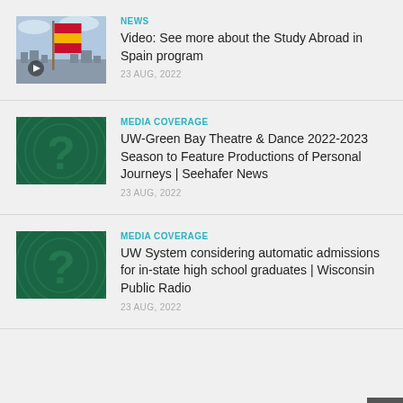[Figure (photo): Spanish flag waving against sky with a city background, with a video play button overlay]
NEWS
Video: See more about the Study Abroad in Spain program
23 AUG, 2022
[Figure (photo): Dark green background with question mark graphic]
MEDIA COVERAGE
UW-Green Bay Theatre & Dance 2022-2023 Season to Feature Productions of Personal Journeys | Seehafer News
23 AUG, 2022
[Figure (photo): Dark green background with question mark graphic]
MEDIA COVERAGE
UW System considering automatic admissions for in-state high school graduates | Wisconsin Public Radio
23 AUG, 2022